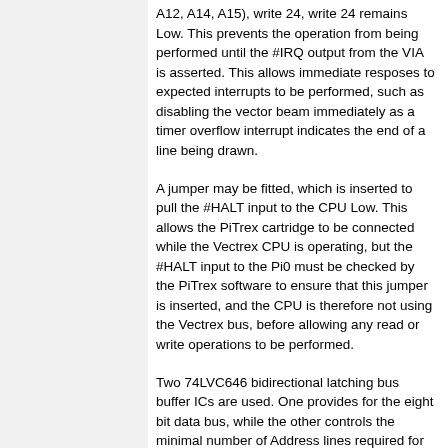A12, A14, A15), write 24, write 24 remains Low. This prevents the operation from being performed until the #IRQ output from the VIA is asserted. This allows immediate resposes to expected interrupts to be performed, such as disabling the vector beam immediately as a timer overflow interrupt indicates the end of a line being drawn.
A jumper may be fitted, which is inserted to pull the #HALT input to the CPU Low. This allows the PiTrex cartridge to be connected while the Vectrex CPU is operating, but the #HALT input to the Pi0 must be checked by the PiTrex software to ensure that this jumper is inserted, and the CPU is therefore not using the Vectrex bus, before allowing any read or write operations to be performed.
Two 74LVC646 bidirectional latching bus buffer ICs are used. One provides for the eight bit data bus, while the other controls the minimal number of Address lines required for addressing the VIA. The VIA requires only four Address lines (A0-A3) for selecting its internal registers, and three others (A12, A14, A15) are required to select the VIA via the Address decoding circuitry in the Vectrex. Other address lines are permanently tied Low to disable